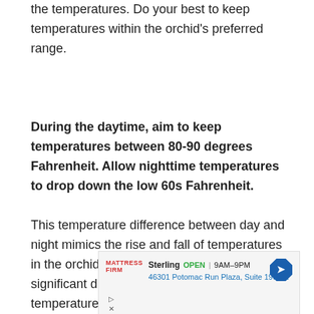the temperatures. Do your best to keep temperatures within the orchid's preferred range.
During the daytime, aim to keep temperatures between 80-90 degrees Fahrenheit. Allow nighttime temperatures to drop down the low 60s Fahrenheit.
This temperature difference between day and night mimics the rise and fall of temperatures in the orchid's natural habitat. In addition, the significant difference between day and night temperatures helps trigger blooming in the orchid. This is key and is a necessary
[Figure (other): Advertisement for Mattress Firm, Sterling location, OPEN 9AM-9PM, 46301 Potomac Run Plaza, Suite 190, St]